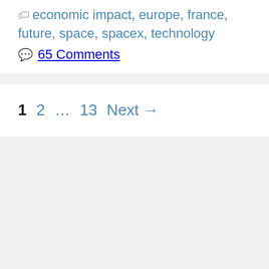economic impact, europe, france, future, space, spacex, technology
65 Comments
1  2  …  13  Next →